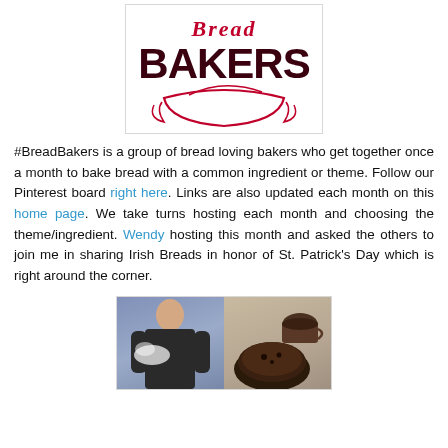[Figure (logo): Bread Bakers logo: stylized script 'Bread' above bold 'BAKERS' text with decorative swirl, in dark red/crimson colors, inside a white box with border]
#BreadBakers is a group of bread loving bakers who get together once a month to bake bread with a common ingredient or theme. Follow our Pinterest board right here. Links are also updated each month on this home page. We take turns hosting each month and choosing the theme/ingredient. Wendy hosting this month and asked the others to join me in sharing Irish Breads in honor of St. Patrick's Day which is right around the corner.
[Figure (photo): Collage of two images side by side: left shows a man (Paul Hollywood style) holding something, standing against a purple/blue background; right shows a dark round loaf of Irish bread with a cup of tea/coffee on a cloth background]